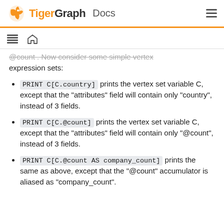TigerGraph Docs
@count . Now consider some simple vertex expression sets:
PRINT C[C.country] prints the vertex set variable C, except that the "attributes" field will contain only "country", instead of 3 fields.
PRINT C[C.@count] prints the vertex set variable C, except that the "attributes" field will contain only "@count", instead of 3 fields.
PRINT C[C.@count AS company_count] prints the same as above, except that the "@count" accumulator is aliased as "company_count".